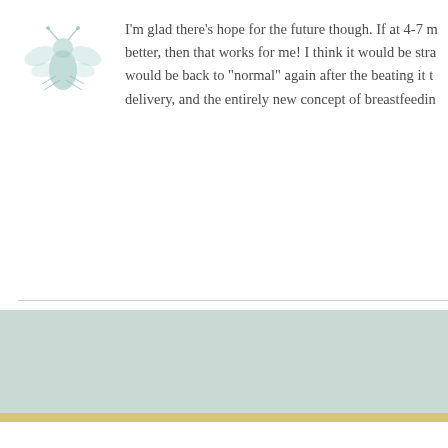[Figure (illustration): Small light teal/mint colored bee or insect illustration used as avatar]
I'm glad there's hope for the future though. If at 4-7 m better, then that works for me! I think it would be stra would be back to "normal" again after the beating it t delivery, and the entirely new concept of breastfeedin
reply
YOU MUST LOGIN / REGISTER TO POST
about / terms of use / privacy policy / contact / adv